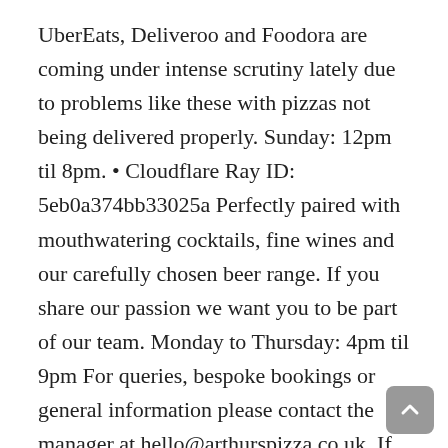UberEats, Deliveroo and Foodora are coming under intense scrutiny lately due to problems like these with pizzas not being delivered properly. Sunday: 12pm til 8pm. • Cloudflare Ray ID: 5eb0a374bb33025a Perfectly paired with mouthwatering cocktails, fine wines and our carefully chosen beer range. If you share our passion we want you to be part of our team. Monday to Thursday: 4pm til 9pm For queries, bespoke bookings or general information please contact the manager at hello@arthurspizza.co.uk, If you have feedback you would like to share we would love to hear all the good and constructive feedback at hello@mosaicpubanddining.com, Arthur's Pizza, Twickenham Green • Recent Posts by Arthur's Pizza 3rd Party Delivery Partners Ever opened a delivery box to find your pizza looking like this? You may need to download version 2.0 now from the Chrome Web Store. Performance